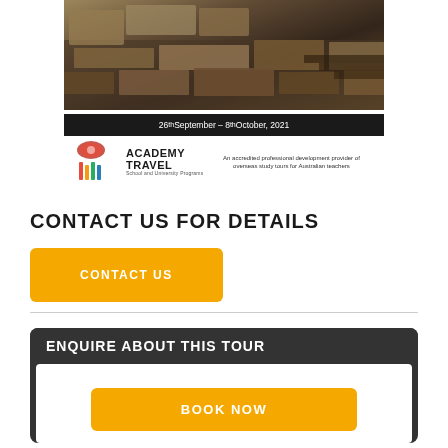[Figure (photo): Archaeological ruins with large stone blocks and ancient masonry structure, with a dark banner below showing the date range '26th September – 8th October, 2021']
[Figure (logo): Academy Travel logo with colorful icon and text 'ACADEMY TRAVEL School and University Programs' alongside tagline 'An accredited professional development provider of overseas study tours for Australian teachers']
CONTACT US FOR DETAILS
CONTACT US
ENQUIRE ABOUT THIS TOUR
BOOK NOW